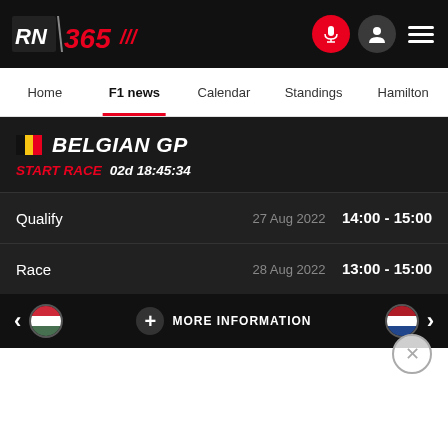RN 365
Home | F1 news | Calendar | Standings | Hamilton
BELGIAN GP
START RACE 02d 18:45:34
| Event | Date | Time |
| --- | --- | --- |
| Qualify | 27 Aug 2022 | 14:00 - 15:00 |
| Race | 28 Aug 2022 | 13:00 - 15:00 |
MORE INFORMATION